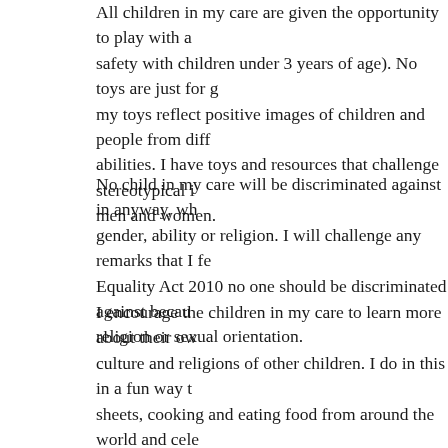All children in my care are given the opportunity to play with a... safety with children under 3 years of age). No toys are just for g... my toys reflect positive images of children and people from diff... abilities. I have toys and resources that challenge stereotypical i... men and women.
No child in my care will be discriminated against in anyway, wh... gender, ability or religion. I will challenge any remarks that I fe... Equality Act 2010 no one should be discriminated against becau... religion or sexual orientation.
I encourage the children in my care to learn more about their ow... culture and religions of other children. I do in this in a fun way t... sheets, cooking and eating food from around the world and cele... resources such as books with different languages and religions, ... multicultural skin tone crayons and pencils.
I encourage the children to develop a healthy respect of each oth... everyone as an individual, I also teach British values of democ...